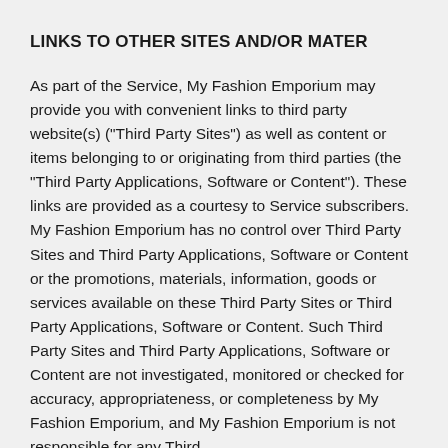LINKS TO OTHER SITES AND/OR MATER
As part of the Service, My Fashion Emporium may provide you with convenient links to third party website(s) ("Third Party Sites") as well as content or items belonging to or originating from third parties (the "Third Party Applications, Software or Content"). These links are provided as a courtesy to Service subscribers. My Fashion Emporium has no control over Third Party Sites and Third Party Applications, Software or Content or the promotions, materials, information, goods or services available on these Third Party Sites or Third Party Applications, Software or Content. Such Third Party Sites and Third Party Applications, Software or Content are not investigated, monitored or checked for accuracy, appropriateness, or completeness by My Fashion Emporium, and My Fashion Emporium is not responsible for any Third